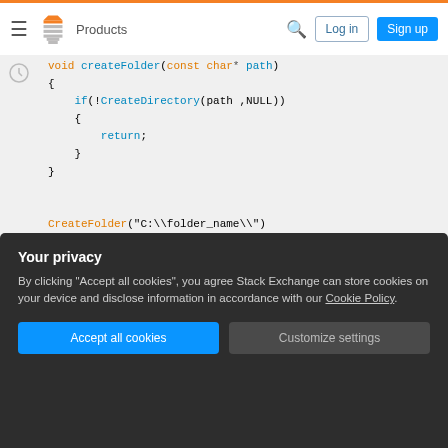Products | Log in | Sign up
[Figure (screenshot): Code block showing createFolder C++ function with CreateDirectory call, and usage example CreateFolder("C:\\folder_name\\")]
This above code works well for me.
Your privacy
By clicking "Accept all cookies", you agree Stack Exchange can store cookies on your device and disclose information in accordance with our Cookie Policy.
Accept all cookies | Customize settings